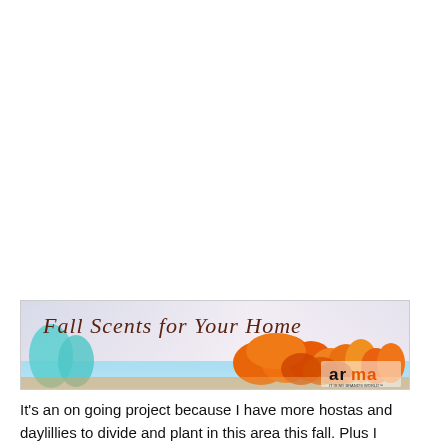[Figure (illustration): Banner image with autumn trees and blue sky background. Text reads 'Fall Scents for Your Home' in a decorative brownish font. A logo reading 'arma' appears in the lower right area.]
It's an on going project because I have more hostas and daylillies to divide and plant in this area this fall. Plus I want to plant some spring blooming bulbs. If you want to save some